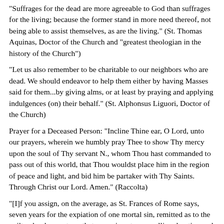"Suffrages for the dead are more agreeable to God than suffrages for the living; because the former stand in more need thereof, not being able to assist themselves, as are the living." (St. Thomas Aquinas, Doctor of the Church and "greatest theologian in the history of the Church")
"Let us also remember to be charitable to our neighbors who are dead. We should endeavor to help them either by having Masses said for them...by giving alms, or at least by praying and applying indulgences (on) their behalf." (St. Alphonsus Liguori, Doctor of the Church)
Prayer for a Deceased Person: "Incline Thine ear, O Lord, unto our prayers, wherein we humbly pray Thee to show Thy mercy upon the soul of Thy servant N., whom Thou hast commanded to pass out of this world, that Thou wouldst place him in the region of peace and light, and bid him be partaker with Thy Saints. Through Christ our Lord. Amen." (Raccolta)
"[I]f you assign, on the average, as St. Frances of Rome says, seven years for the expiation of one mortal sin, remitted as to the guilt, who does not see that we arrive at an appalling duration and that the expiation may especially be prolonged for many years, and even for centuries? Years and centuries of torments! Oh! if we only thought of it, with what care should we not avoid the least faults! with what fervor should we not practice penance to make